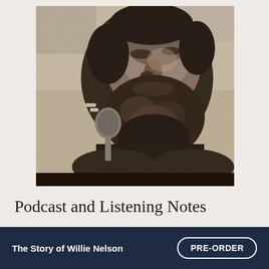[Figure (photo): Black and white photograph of a bearded man singing into a microphone, shot from a low angle. The subject appears to be Willie Nelson performing on stage.]
Podcast and Listening Notes
The Story of Willie Nelson
PRE-ORDER